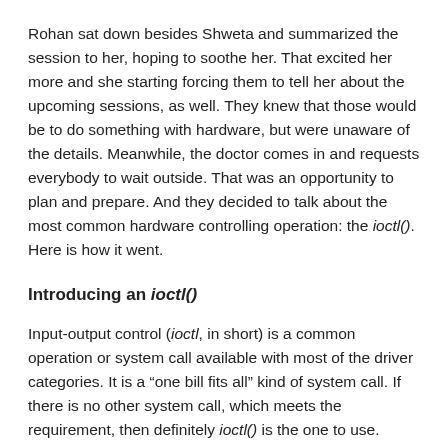Rohan sat down besides Shweta and summarized the session to her, hoping to soothe her. That excited her more and she starting forcing them to tell her about the upcoming sessions, as well. They knew that those would be to do something with hardware, but were unaware of the details. Meanwhile, the doctor comes in and requests everybody to wait outside. That was an opportunity to plan and prepare. And they decided to talk about the most common hardware controlling operation: the ioctl(). Here is how it went.
Introducing an ioctl()
Input-output control (ioctl, in short) is a common operation or system call available with most of the driver categories. It is a “one bill fits all” kind of system call. If there is no other system call, which meets the requirement, then definitely ioctl() is the one to use. Practical examples include volume control for an audio device, display configuration for a video